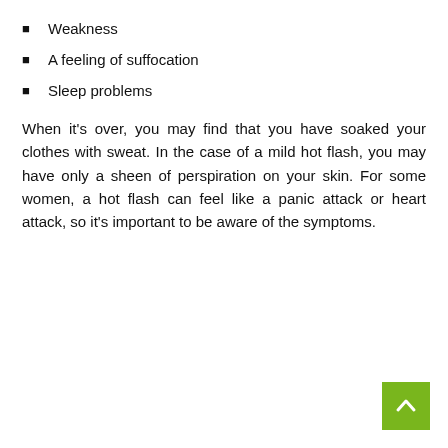Weakness
A feeling of suffocation
Sleep problems
When it's over, you may find that you have soaked your clothes with sweat. In the case of a mild hot flash, you may have only a sheen of perspiration on your skin. For some women, a hot flash can feel like a panic attack or heart attack, so it's important to be aware of the symptoms.